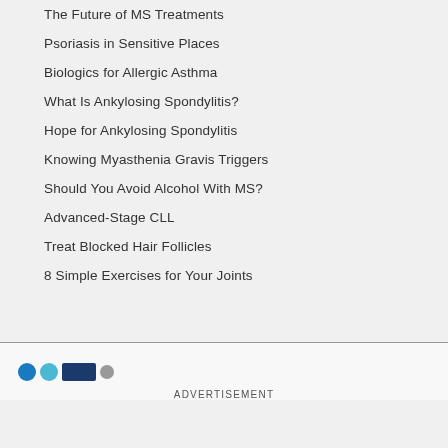The Future of MS Treatments
Psoriasis in Sensitive Places
Biologics for Allergic Asthma
What Is Ankylosing Spondylitis?
Hope for Ankylosing Spondylitis
Knowing Myasthenia Gravis Triggers
Should You Avoid Alcohol With MS?
Advanced-Stage CLL
Treat Blocked Hair Follicles
8 Simple Exercises for Your Joints
[Figure (logo): WebMD-style logo with colored dots and rectangle]
ADVERTISEMENT